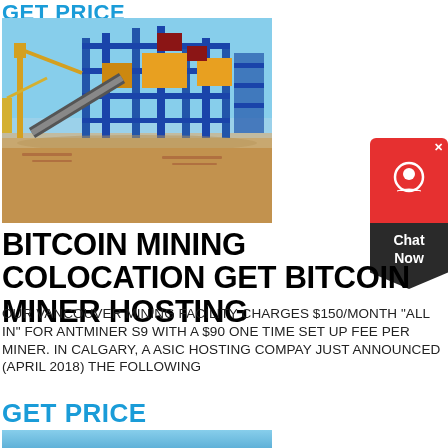GET PRICE
[Figure (photo): Industrial mining facility with large blue and yellow steel structures, cranes, conveyor belts, and construction equipment on a sandy site under a clear blue sky.]
BITCOIN MINING COLOCATION GET BITCOIN MINER HOSTING
OUR VANCOUVER MINING FACILITY CHARGES $150/MONTH "ALL IN" FOR ANTMINER S9 WITH A $90 ONE TIME SET UP FEE PER MINER. IN CALGARY, A ASIC HOSTING COMPAY JUST ANNOUNCED (APRIL 2018) THE FOLLOWING
GET PRICE
[Figure (photo): Partial view of a sky/outdoor scene, bottom of page cut off.]